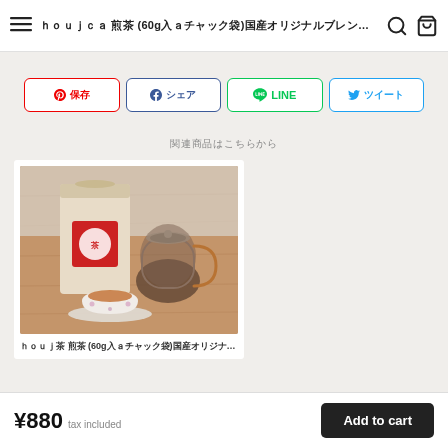≡  ほうじ茶 煎茶 (60g入りチャック袋)国産オリジナルブレンド...  🔍  🛒
保存
シェア
LINE
ツイート
関連商品はこちらから
[Figure (photo): Tea product photo showing a kraft paper bag with red label, a glass teapot with copper handle, and a teacup with saucer on a wooden table]
ほうじ茶 煎茶 (60g入りチャック袋)国産オリジナル...
¥880  tax included
Add to cart